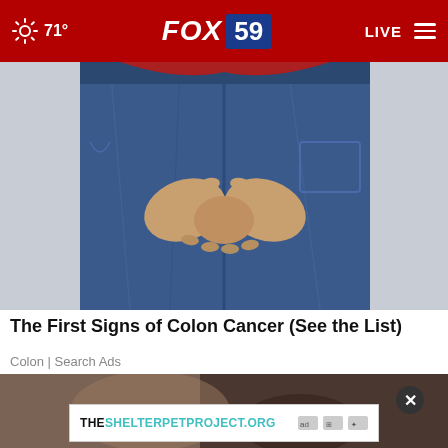71° FOX 59 LIVE
[Figure (photo): Close-up of a person wearing blue jeans, hands clasped together at the front of the waist area, with a red top visible at the top.]
The First Signs of Colon Cancer (See the List)
Colon | Search Ads
[Figure (photo): Partially visible second image below the article title, showing a dark background with some content obscured by an advertisement overlay.]
THESHELTERPETPROJECT.ORG